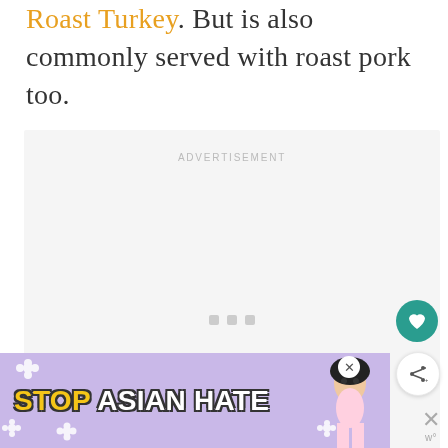Roast Turkey. But is also commonly served with roast pork too.
[Figure (other): Advertisement placeholder box with 'ADVERTISEMENT' label and three loading dots]
[Figure (other): Teal circular button with heart icon (like/save button)]
[Figure (other): White circular button with share icon]
[Figure (other): Purple banner advertisement reading 'STOP ASIAN HATE' with anime character and flower decorations]
[Figure (other): Close/X button with 'w' wordmark below it on right side]